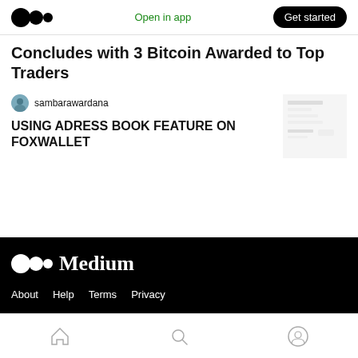Open in app | Get started
Concludes with 3 Bitcoin Awarded to Top Traders
sambarawardana
USING ADRESS BOOK FEATURE ON FOXWALLET
[Figure (screenshot): Small thumbnail screenshot of the FoxWallet address book feature interface]
Medium — About  Help  Terms  Privacy
[Figure (logo): Medium logo with wordmark in white on black background]
About  Help  Terms  Privacy